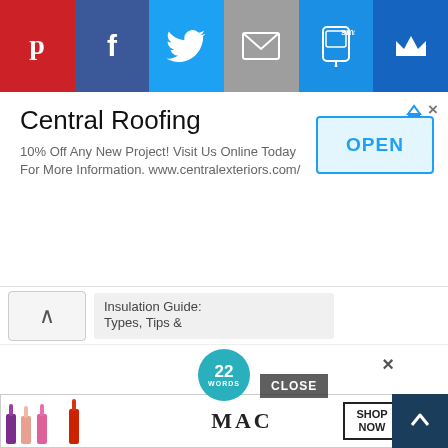[Figure (screenshot): Social share bar with Pinterest, Facebook, Twitter, Email, SMS, and Crown/More buttons in colored tiles across the top]
[Figure (screenshot): Advertisement banner for Central Roofing: '10% Off Any New Project! Visit Us Online Today For More Information. www.centralexteriors.com/' with an OPEN button]
[Figure (screenshot): Navigation back button with card showing 'Insulation Guide: Types, Tips &']
[Figure (screenshot): 22 Words badge logo (teal circle with '22 WORDS'), close X, and article headline '37 BEAUTY PRODUCTS WITH SUCH GOOD REVIEWS YOU MIGHT WANT TO TRY THEM YOURSELF' with lipstick product photo]
[Figure (screenshot): MAC cosmetics advertisement at bottom with lipstick products and SHOP NOW button, plus dark scroll-to-top button]